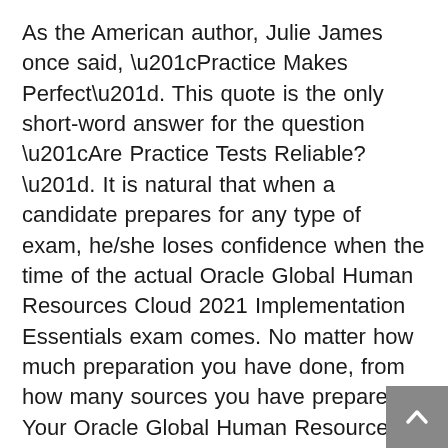As the American author, Julie James once said, “Practice Makes Perfect”. This quote is the only short-word answer for the question “Are Practice Tests Reliable?”. It is natural that when a candidate prepares for any type of exam, he/she loses confidence when the time of the actual Oracle Global Human Resources Cloud 2021 Implementation Essentials exam comes. No matter how much preparation you have done, from how many sources you have prepared. Your Oracle Global Human Resources Cloud 2021 Implementation Essentials exam preparation is incomplete without practicing on Oracle 1Z0-1046-21  practice tests. Now the question arises, why do Oracle Oracle Global Human Resources Cloud 2021 Implementation Essentials 1Z0-1046-21 practice tests have so much importance? This is simple when you